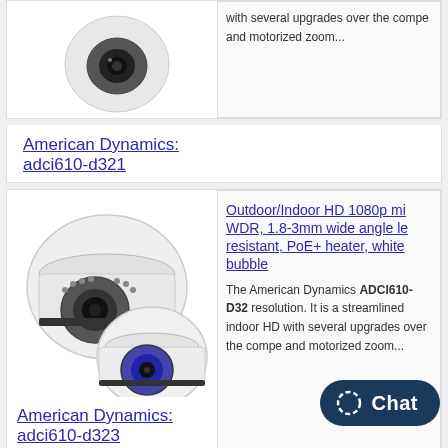[Figure (photo): Partial top of a dome security camera product card showing bottom of camera image]
with several upgrades over the compe... and motorized zoom...
American Dynamics: adci610-d321
[Figure (photo): Two white dome security cameras stacked, indoor/outdoor HD 1080p cameras by American Dynamics]
Outdoor/Indoor HD 1080p mi WDR, 1.8-3mm wide angle le resistant, PoE+ heater, white bubble
The American Dynamics ADCI610-D32 resolution. It is a streamlined indoor HD with several upgrades over the compe and motorized zoom...
American Dynamics: adci610-d323
[Figure (photo): Partial bottom card showing top of another dome security camera]